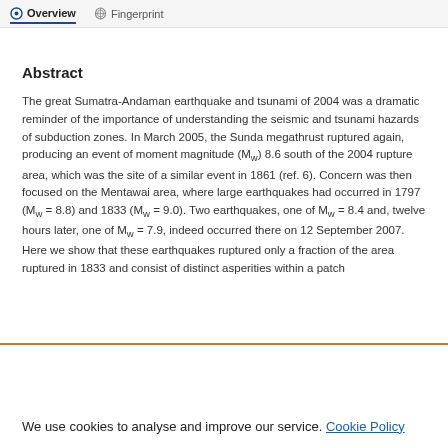Overview  Fingerprint
Abstract
The great Sumatra-Andaman earthquake and tsunami of 2004 was a dramatic reminder of the importance of understanding the seismic and tsunami hazards of subduction zones. In March 2005, the Sunda megathrust ruptured again, producing an event of moment magnitude (Mw) 8.6 south of the 2004 rupture area, which was the site of a similar event in 1861 (ref. 6). Concern was then focused on the Mentawai area, where large earthquakes had occurred in 1797 (Mw = 8.8) and 1833 (Mw = 9.0). Two earthquakes, one of Mw = 8.4 and, twelve hours later, one of Mw = 7.9, indeed occurred there on 12 September 2007. Here we show that these earthquakes ruptured only a fraction of the area ruptured in 1833 and consist of distinct asperities within a patch
We use cookies to analyse and improve our service. Cookie Policy